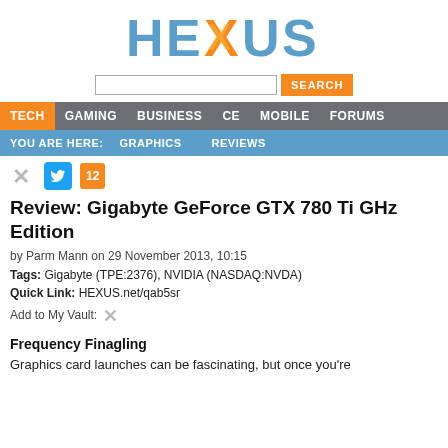[Figure (logo): HEXUS logo with orange X and blue/gray letters]
[Figure (screenshot): Search bar with orange SEARCH button]
TECH   GAMING   BUSINESS   CE   MOBILE   FORUMS
YOU ARE HERE:   GRAPHICS   REVIEWS
[Figure (logo): Social sharing icons: X icon, Twitter button with count 12]
Review: Gigabyte GeForce GTX 780 Ti GHz Edition
by Parm Mann on 29 November 2013, 10:15
Tags: Gigabyte (TPE:2376), NVIDIA (NASDAQ:NVDA)
Quick Link: HEXUS.net/qab5sr
Add to My Vault:
Frequency Finagling
Graphics card launches can be fascinating, but once you're